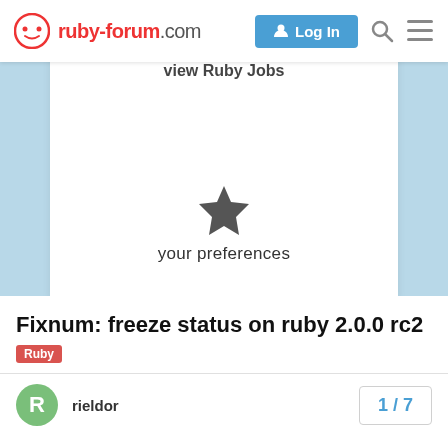ruby-forum.com
view Ruby Jobs
[Figure (illustration): Star icon representing 'your preferences']
your preferences
Fixnum: freeze status on ruby 2.0.0 rc2
Ruby
rieldor
1 / 7